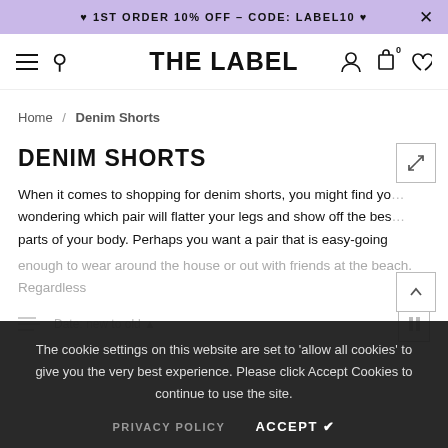❤ 1ST ORDER 10% OFF – CODE: LABEL10 ❤
THE LABEL
Home / Denim Shorts
DENIM SHORTS
When it comes to shopping for denim shorts, you might find yourself wondering which pair will flatter your legs and show off the best parts of your body. Perhaps you want a pair that is easy-going enough to wear around the house or out with friends at the beach. Regardless
The cookie settings on this website are set to 'allow all cookies' to give you the very best experience. Please click Accept Cookies to continue to use the site.
PRIVACY POLICY   ACCEPT ✔